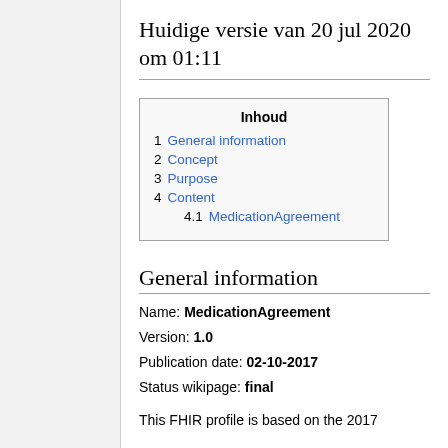Huidige versie van 20 jul 2020 om 01:11
| Inhoud |
| --- |
| 1  General information |
| 2  Concept |
| 3  Purpose |
| 4  Content |
| 4.1  MedicationAgreement |
General information
Name: MedicationAgreement
Version: 1.0
Publication date: 02-10-2017
Status wikipage: final
This FHIR profile is based on the 2017